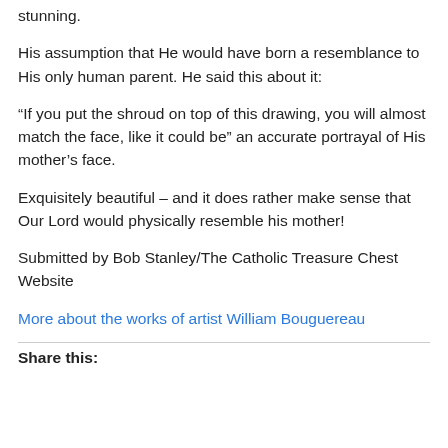stunning.
His assumption that He would have born a resemblance to His only human parent. He said this about it:
“If you put the shroud on top of this drawing, you will almost match the face, like it could be” an accurate portrayal of His mother’s face.
Exquisitely beautiful – and it does rather make sense that Our Lord would physically resemble his mother!
Submitted by Bob Stanley/The Catholic Treasure Chest Website
More about the works of artist William Bouguereau
Share this: